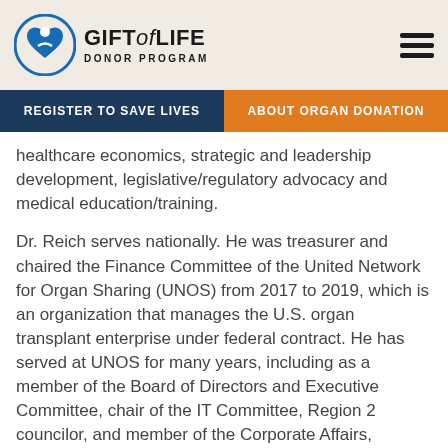[Figure (logo): Gift of Life Donor Program logo with blue circular heart/person icon and text]
REGISTER TO SAVE LIVES | ABOUT ORGAN DONATION
healthcare economics, strategic and leadership development, legislative/regulatory advocacy and medical education/training.
Dr. Reich serves nationally. He was treasurer and chaired the Finance Committee of the United Network for Organ Sharing (UNOS) from 2017 to 2019, which is an organization that manages the U.S. organ transplant enterprise under federal contract. He has served at UNOS for many years, including as a member of the Board of Directors and Executive Committee, chair of the IT Committee, Region 2 councilor, and member of the Corporate Affairs, Membership and Professional Standards, and Liver Transplant Committees. He chaired the American Society of Transplant Surgeons Legislative and Standards Committees and the Quality and Pay...